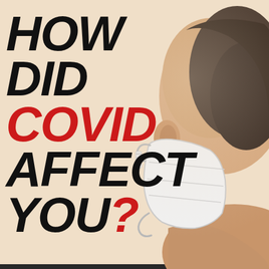[Figure (illustration): A person wearing a white surgical/N95 face mask, photographed from behind/side angle, with dark beard visible, against a beige/cream background. Only the ear, back of head, and mask are clearly visible.]
HOW DID COVID AFFECT YOU?